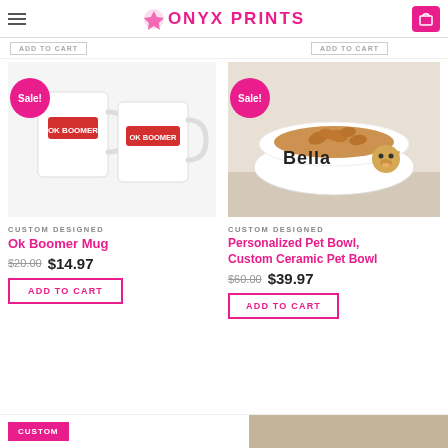ONYX PRINTS
[Figure (photo): Two white mugs with OK BOOMER red label design]
[Figure (photo): White ceramic pet bowl labeled 'Bella' with golden retriever face, filled with dog treats]
CUSTOM DESIGNED
Ok Boomer Mug
$20.00  $14.97
ADD TO CART
CUSTOM DESIGNED
Personalized Pet Bowl, Custom Ceramic Pet Bowl
$60.00  $39.97
ADD TO CART